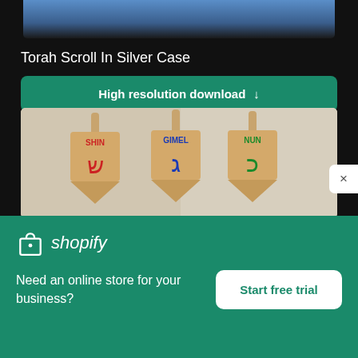[Figure (photo): Partial view of a blurry blue/dark image at the top, cropped at top of page]
Torah Scroll In Silver Case
[Figure (other): Green button with text 'High resolution download' and a downward arrow]
[Figure (photo): Three wooden dreidels labeled SHIN (red Hebrew letter), GIMEL (blue Hebrew letter), NUN (green Hebrew letter) on a light background]
[Figure (other): White X close button on right side]
[Figure (logo): Shopify logo: shopping bag icon and italic 'shopify' text in white on green background]
Need an online store for your business?
Start free trial